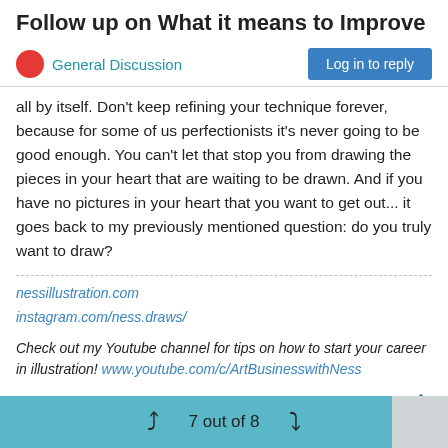Follow up on What it means to Improve
General Discussion
all by itself. Don't keep refining your technique forever, because for some of us perfectionists it's never going to be good enough. You can't let that stop you from drawing the pieces in your heart that are waiting to be drawn. And if you have no pictures in your heart that you want to get out... it goes back to my previously mentioned question: do you truly want to draw?
nessillustration.com
instagram.com/ness.draws/
Check out my Youtube channel for tips on how to start your career in illustration! www.youtube.com/c/ArtBusinesswithNess
7 out of 8